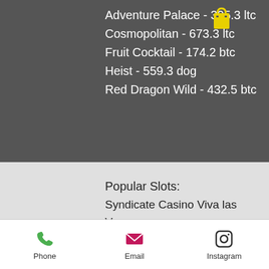Adventure Palace - 305.3 ltc
Cosmopolitan - 673.3 ltc
Fruit Cocktail - 174.2 btc
Heist - 559.3 dog
Red Dragon Wild - 432.5 btc
Popular Slots:
Syndicate Casino Viva las Vegas
Diamond Reels Casino Chilli Gold
22Bet Casino Bonanza
Mars Casino Hugo
mBit Casino Super 5 Stars
BitcoinCasino.us Exotic Fruit
Cloudbet Casino Winter Wonderland
mBit Casino Mona Lisa Jewels
mBTC free bet Bar Bar Blacksheep
OneHash Merlin's Magic Respins
Phone  Email  Instagram